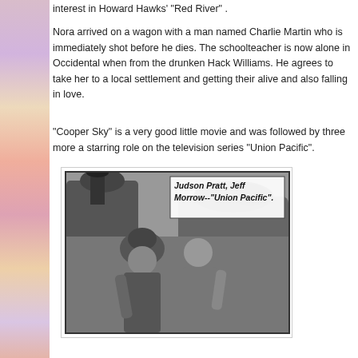interest in Howard Hawks' 'Red River'.
Nora arrived on a wagon with a man named Charlie Martin who is immediately shot before he dies. The schoolteacher is now alone in Occidental when from the drunken Hack Williams. He agrees to take her to a local settlement and getting their alive and also falling in love.
"Cooper Sky" is a very good little movie and was followed by three more a starring role on the television series "Union Pacific".
[Figure (photo): Black and white photo of two men standing in front of a train locomotive. Caption reads: Judson Pratt, Jeff Morrow--"Union Pacific".]